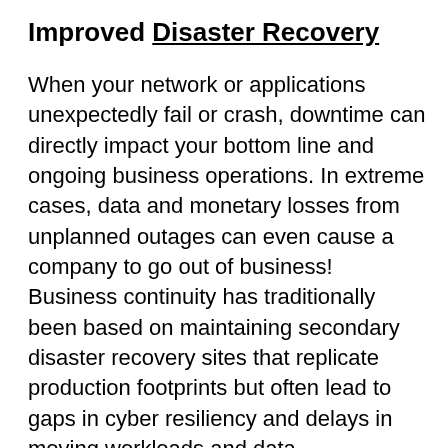Improved Disaster Recovery
When your network or applications unexpectedly fail or crash, downtime can directly impact your bottom line and ongoing business operations. In extreme cases, data and monetary losses from unplanned outages can even cause a company to go out of business! Business continuity has traditionally been based on maintaining secondary disaster recovery sites that replicate production footprints but often lead to gaps in cyber resiliency and delays in moving workloads and data.
Cloud models for disaster recovery now enable per-application disaster recovery and cyber resiliency that provide tailored responsiveness based on the business needs of applications. The cloud is more reliable than on-premise backup methods and offers the added benefit of allowing